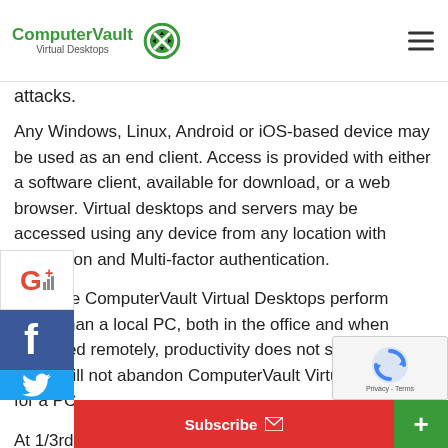ComputerVault Virtual Desktops
attacks.
Any Windows, Linux, Android or iOS-based device may be used as an end client. Access is provided with either a software client, available for download, or a web browser. Virtual desktops and servers may be accessed using any device from any location with encryption and Multi-factor authentication.
Because ComputerVault Virtual Desktops perform faster than a local PC, both in the office and when accessed remotely, productivity does not suffer and users will not abandon ComputerVault Virtual Desktops for a PC.
At 1/3rd to 1/6th the cost of competing solutions, ComputerVault Virtual Desktops are less expensive than buying and supporting PCs. With the pricing and performance characteristics of virtual
[Figure (other): Social share buttons (Google+, Facebook, Twitter) on left sidebar, Subscribe button and + button at bottom, reCAPTCHA overlay bottom right]